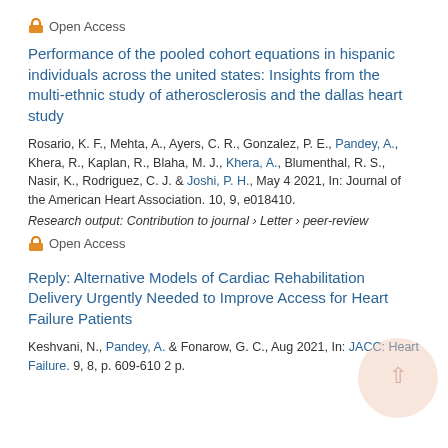Open Access
Performance of the pooled cohort equations in hispanic individuals across the united states: Insights from the multi-ethnic study of atherosclerosis and the dallas heart study
Rosario, K. F., Mehta, A., Ayers, C. R., Gonzalez, P. E., Pandey, A., Khera, R., Kaplan, R., Blaha, M. J., Khera, A., Blumenthal, R. S., Nasir, K., Rodriguez, C. J. & Joshi, P. H., May 4 2021, In: Journal of the American Heart Association. 10, 9, e018410.
Research output: Contribution to journal › Letter › peer-review
Open Access
Reply: Alternative Models of Cardiac Rehabilitation Delivery Urgently Needed to Improve Access for Heart Failure Patients
Keshvani, N., Pandey, A. & Fonarow, G. C., Aug 2021, In: JACC: Heart Failure. 9, 8, p. 609-610 2 p.